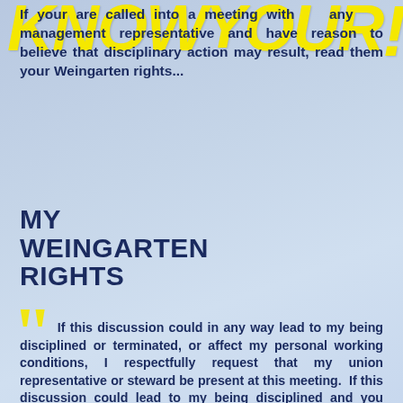KNOW YOUR RIGHTS!
If your are called into a meeting with any management representative and have reason to believe that disciplinary action may result, read them your Weingarten rights...
MY WEINGARTEN RIGHTS
If this discussion could in any way lead to my being disciplined or terminated, or affect my personal working conditions, I respectfully request that my union representative or steward be present at this meeting. If this discussion could lead to my being disciplined and you deny my request for representation, I choose not to